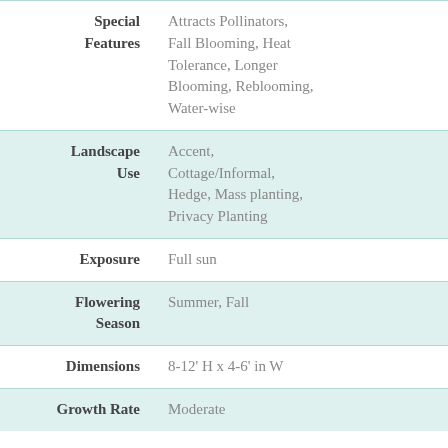| Feature | Value |
| --- | --- |
| Special Features | Attracts Pollinators, Fall Blooming, Heat Tolerance, Longer Blooming, Reblooming, Water-wise |
| Landscape Use | Accent, Cottage/Informal, Hedge, Mass planting, Privacy Planting |
| Exposure | Full sun |
| Flowering Season | Summer, Fall |
| Dimensions | 8-12' H x 4-6' in W |
| Growth Rate | Moderate |